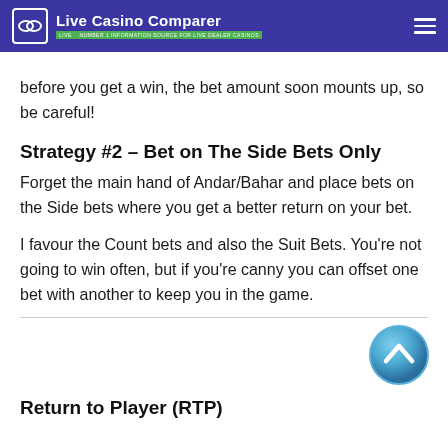Live Casino Comparer — NUMBER 1 INFORMATION SOURCE FOR LIVE DEALER CASINOS
before you get a win, the bet amount soon mounts up, so be careful!
Strategy #2 – Bet on The Side Bets Only
Forget the main hand of Andar/Bahar and place bets on the Side bets where you get a better return on your bet.
I favour the Count bets and also the Suit Bets. You're not going to win often, but if you're canny you can offset one bet with another to keep you in the game.
[Figure (illustration): Scroll-to-top button: a circular blue gradient button with an upward-pointing chevron/arrow icon]
Return to Player (RTP)